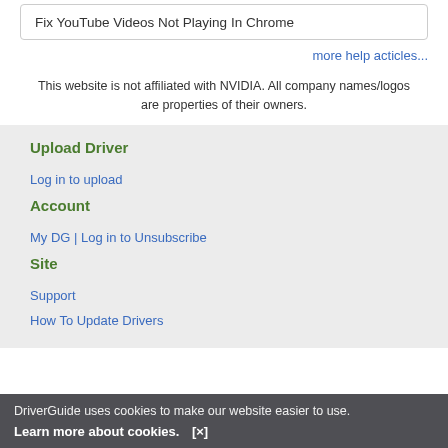Fix YouTube Videos Not Playing In Chrome
more help acticles...
This website is not affiliated with NVIDIA. All company names/logos are properties of their owners.
Upload Driver
Log in to upload
Account
My DG | Log in to Unsubscribe
Site
Support
How To Update Drivers
DriverGuide uses cookies to make our website easier to use. Learn more about cookies. [×]